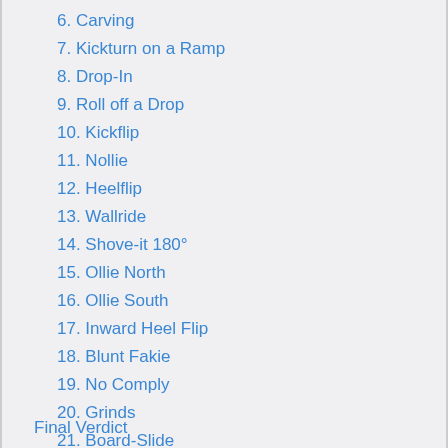6. Carving
7. Kickturn on a Ramp
8. Drop-In
9. Roll off a Drop
10. Kickflip
11. Nollie
12. Heelflip
13. Wallride
14. Shove-it 180°
15. Ollie North
16. Ollie South
17. Inward Heel Flip
18. Blunt Fakie
19. No Comply
20. Grinds
21. Board-Slide
22. Axle Stall
Final Verdict